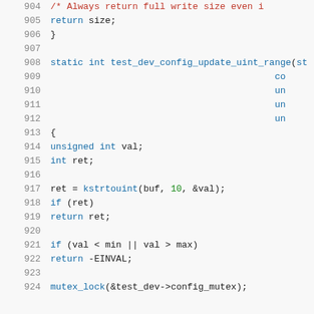[Figure (screenshot): Source code listing in C, lines 904-924, showing a function test_dev_config_update_uint_range with syntax highlighting. Line numbers in gray on left, keywords in blue, comments in red, numbers in green.]